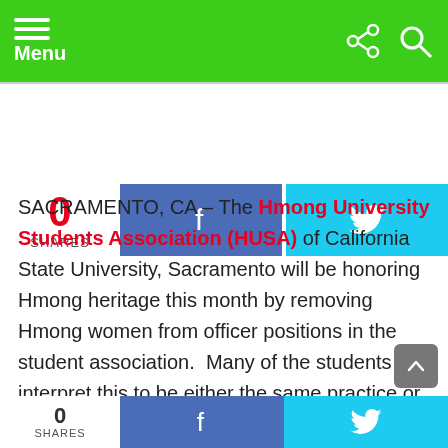Menu
[Figure (screenshot): Social share buttons: 0 SHARES, Facebook button, Twitter button]
SACRAMENTO, CA – The Hmong University Students Association (HUSA) of California State University, Sacramento will be honoring Hmong heritage this month by removing Hmong women from officer positions in the student association.  Many of the students interpret this to be either the same practice or similar to only having Hmong men sitting at the table during the important discussion parts of
[Figure (screenshot): Bottom social share bar: 0 SHARES, Facebook button, Twitter button]